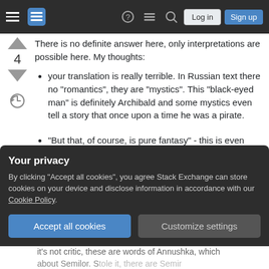Stack Exchange navigation bar with hamburger menu, logo, help, chat, search, Log in, Sign up
There is no definite answer here, only interpretations are possible here. My thoughts:
your translation is really terrible. In Russian text there no "romantics", they are "mystics". This "black-eyed man" is definitely Archibald and some mystics even tell a story that once upon a time he was a pirate.
"But that, of course, is pure fantasy" - this is even worse. In original it is "These sweet-talking mystics are telling lie, there is no such
Your privacy
By clicking "Accept all cookies", you agree Stack Exchange can store cookies on your device and disclose information in accordance with our Cookie Policy.
Accept all cookies   Customize settings